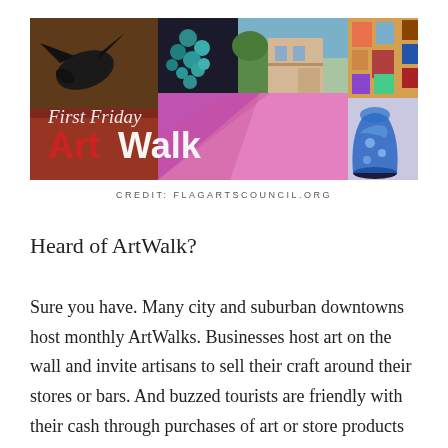[Figure (illustration): First Friday ArtWalk banner image collage featuring a raven, turquoise jewelry, a downtown building, colorful art gallery walls, a blue glass vase, and art supplies. Bold text reads 'First Friday ArtWalk' in red and white.]
CREDIT: FLAGARTSCOUNCIL.ORG
Heard of ArtWalk?
Sure you have. Many city and suburban downtowns host monthly ArtWalks. Businesses host art on the wall and invite artisans to sell their craft around their stores or bars. And buzzed tourists are friendly with their cash through purchases of art or store products